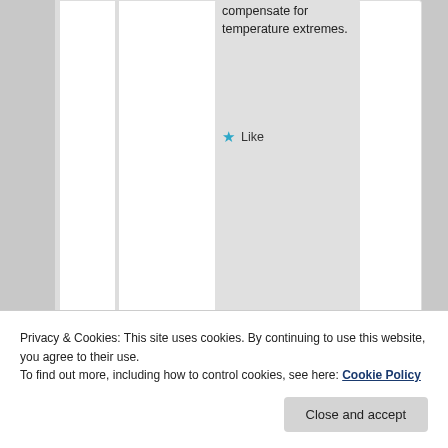compensate for temperature extremes.
★ Like
[Figure (screenshot): User avatar placeholder - grey square with circle]
Privacy & Cookies: This site uses cookies. By continuing to use this website, you agree to their use.
To find out more, including how to control cookies, see here: Cookie Policy
Close and accept